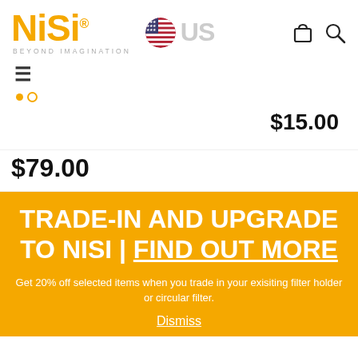NiSi® BEYOND IMAGINATION — US
$15.00
$79.00
TRADE-IN AND UPGRADE TO NISI | FIND OUT MORE
Get 20% off selected items when you trade in your exisiting filter holder or circular filter.
Dismiss